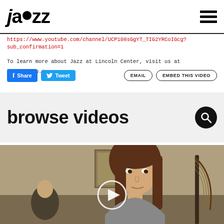jazz (logo) + hamburger menu
https://www.youtube.com/channel/UCP108sGgYT_TIG2YRCoIGcg?sub_confirmation=1
To learn more about Jazz at Lincoln Center, visit us at http://www.jazz.org
[Figure (screenshot): Social sharing buttons: Facebook Share, Tweet, EMAIL, EMBED THIS VIDEO]
browse videos
[Figure (photo): Video thumbnail showing a young woman with brown hair, with a play button overlay in the center]